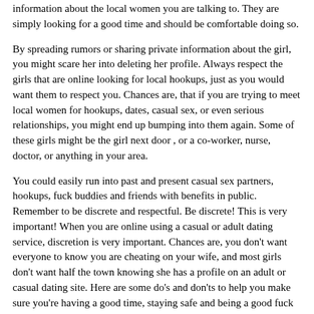information about the local women you are talking to. They are simply looking for a good time and should be comfortable doing so.
By spreading rumors or sharing private information about the girl, you might scare her into deleting her profile. Always respect the girls that are online looking for local hookups, just as you would want them to respect you. Chances are, that if you are trying to meet local women for hookups, dates, casual sex, or even serious relationships, you might end up bumping into them again. Some of these girls might be the girl next door , or a co-worker, nurse, doctor, or anything in your area.
You could easily run into past and present casual sex partners, hookups, fuck buddies and friends with benefits in public. Remember to be discrete and respectful. Be discrete! This is very important! When you are online using a casual or adult dating service, discretion is very important. Chances are, you don't want everyone to know you are cheating on your wife, and most girls don't want half the town knowing she has a profile on an adult or casual dating site. Here are some do's and don'ts to help you make sure you're having a good time, staying safe and being a good fuck buddy:.
DON'T: Don't text her at all hours of the evening. Just because she is having casual sex with you doesn't mean you should be bugging